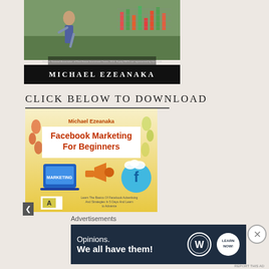[Figure (photo): Book cover for a REIT/stock investment book by Michael Ezeanaka, showing a woman with a shovel, a financial bar chart, and the author's name on a black bar at bottom.]
CLICK BELOW TO DOWNLOAD
[Figure (photo): Book cover for 'Facebook Marketing For Beginners' by Michael Ezeanaka, with marketing icons and Facebook logo, on a yellow background.]
Advertisements
[Figure (screenshot): WordPress 'Opinions. We all have them!' advertisement banner with WordPress logo and Learn Now badge on dark navy background.]